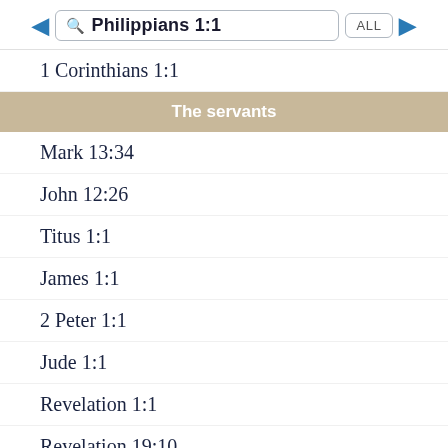Philippians 1:1 ALL
1 Corinthians 1:1
The servants
Mark 13:34
John 12:26
Titus 1:1
James 1:1
2 Peter 1:1
Jude 1:1
Revelation 1:1
Revelation 19:10